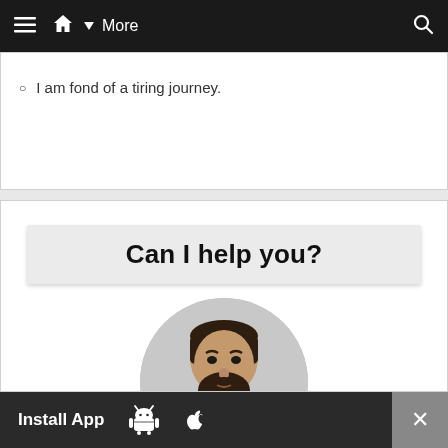≡ 🏠 ▾ More 🔍
I am fond of a tiring journey.
Can I help you?
[Figure (photo): Circular cropped photo of a bearded man in a suit]
Install App [Android icon] [Apple icon] ✕